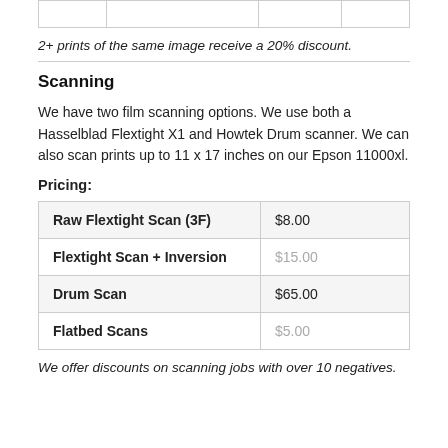|  |  |
| --- | --- |
|  |  |
2+ prints of the same image receive a 20% discount.
Scanning
We have two film scanning options. We use both a Hasselblad Flextight X1 and Howtek Drum scanner. We can also scan prints up to 11 x 17 inches on our Epson 11000xl.
Pricing:
| Service | Price |
| --- | --- |
| Raw Flextight Scan (3F) | $8.00 |
| Flextight Scan + Inversion | $15.00 |
| Drum Scan | $65.00 |
| Flatbed Scans | $5.00 |
We offer discounts on scanning jobs with over 10 negatives.